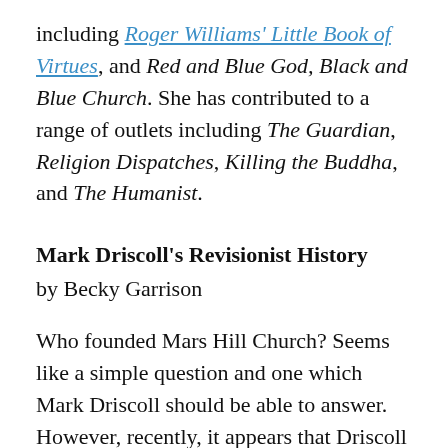including Roger Williams' Little Book of Virtues, and Red and Blue God, Black and Blue Church. She has contributed to a range of outlets including The Guardian, Religion Dispatches, Killing the Buddha, and The Humanist.
Mark Driscoll's Revisionist History
by Becky Garrison
Who founded Mars Hill Church? Seems like a simple question and one which Mark Driscoll should be able to answer. However, recently, it appears that Driscoll has crafted a narrative which eliminates at least two early figures from view. In his current sermon campaign titled